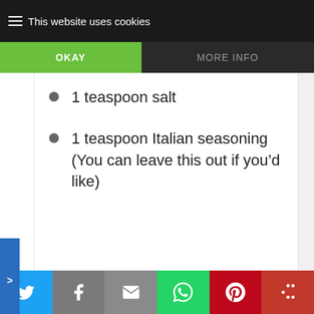This website uses cookies
1 teaspoon salt
1 teaspoon Italian seasoning (You can leave this out if you’d like)
Social share bar: Twitter, Facebook, Email, WhatsApp, Pinterest, More